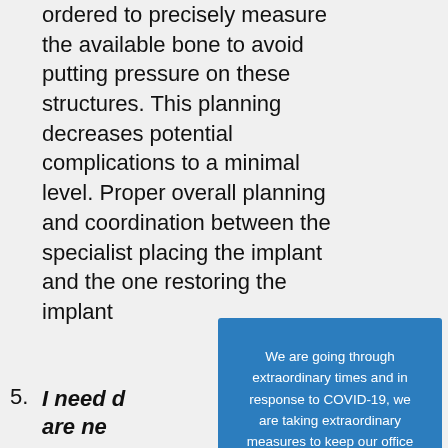ordered to precisely measure the available bone to avoid putting pressure on these structures. This planning decreases potential complications to a minimal level. Proper overall planning and coordination between the specialist placing the implant and the one restoring the implant
5. I need d... are ne... insuran... dental ... Implant... surgica... an abu... and the crown itself. Most dental
We are going through extraordinary times and in response to COVID-19, we are taking extraordinary measures to keep our office safe for our patients and staff.